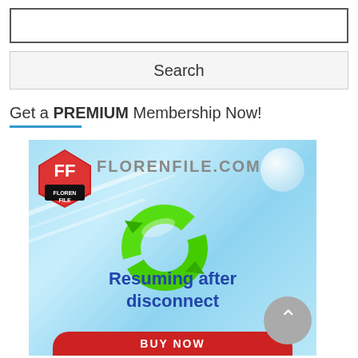Search
Get a PREMIUM Membership Now!
[Figure (illustration): FlorenFile.com advertisement banner with FF logo, green circular arrows icon, text 'Resuming after disconnect', and a red BUY NOW button at the bottom on a light blue gradient background.]